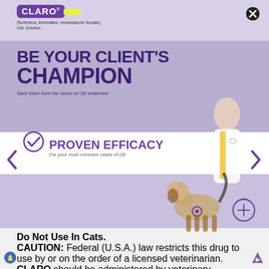[Figure (logo): CLARO logo in purple box with yellow highlight, trademark symbol]
(florfenicol, terbinafine, mometasone furoate)
Otic Solution
[Figure (illustration): Close (X) button circle icon top right]
BE YOUR CLIENT'S CHAMPION
Save them from the stress of OE treatment
[Figure (illustration): Purple checkmark in circle icon]
PROVEN EFFICACY
For your most common cases of OE
[Figure (photo): Smiling female veterinarian in white lab coat with stethoscope walking a beagle dog, illustration of medication icon overlay]
Do Not Use In Cats.
CAUTION: Federal (U.S.A.) law restricts this drug to use by or on the order of a licensed veterinarian. CLARO should be administered by veterinary personnel.